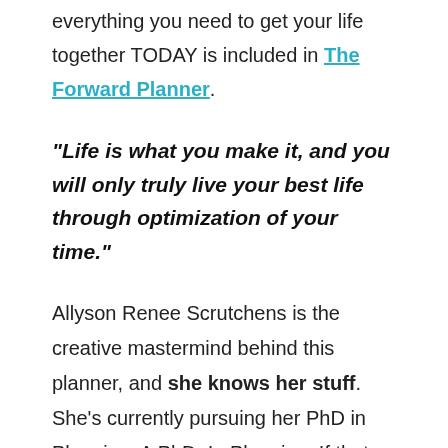everything you need to get your life together TODAY is included in The Forward Planner.
“Life is what you make it, and you will only truly live your best life through optimization of your time.”
Allyson Renee Scrutchens is the creative mastermind behind this planner, and she knows her stuff. She’s currently pursuing her PhD in Planning. A PhD. In Planning. If that doesn’t scream “expert”, I don’t know what